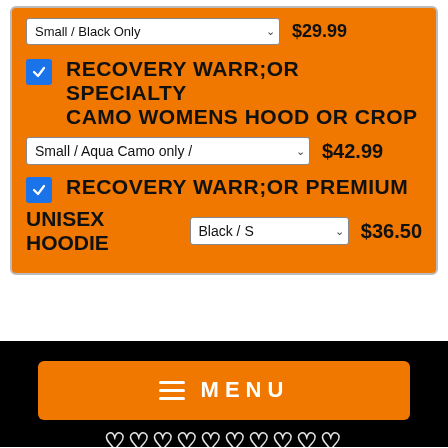Small / Black Only  $29.99
RECOVERY WARR;OR SPECIALTY CAMO WOMENS HOOD OR CROP — Small / Aqua Camo only / — $42.99
RECOVERY WARR;OR PREMIUM UNISEX HOODIE — Black / S — $36.50
[Figure (screenshot): Orange menu button with hamburger icon and MENU text on black background]
MENU